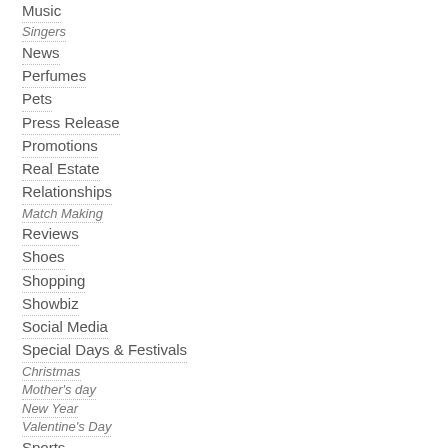Music
Singers
News
Perfumes
Pets
Press Release
Promotions
Real Estate
Relationships
Match Making
Reviews
Shoes
Shopping
Showbiz
Social Media
Special Days & Festivals
Christmas
Mother's day
New Year
Valentine's Day
Sports
Supplements
Technology
Travel
Undergarments
Bra & Panties